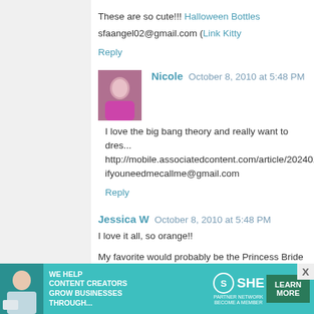These are so cute!!! Halloween Bottles
sfaangel02@gmail.com (Link Kitty
Reply
Nicole  October 8, 2010 at 5:48 PM
I love the big bang theory and really want to dress... http://mobile.associatedcontent.com/article/2024014/the_bi... ifyouneedmecallme@gmail.com
Reply
Jessica W  October 8, 2010 at 5:48 PM
I love it all, so orange!!
My favorite would probably be the Princess Bride costumes...
Buttercup and the Dread Pirate Roberts
strmyweather21(at)yahoo(dot)com
Reply
[Figure (infographic): SHE Partner Network advertisement banner with green/teal background, text: WE HELP CONTENT CREATORS GROW BUSINESSES THROUGH..., SHE logo, PARTNER NETWORK BECOME A MEMBER, LEARN MORE button]